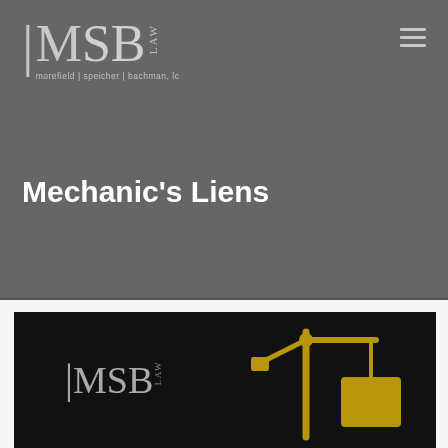[Figure (logo): MSB Law logo — morefield | speicher | bachman, lc — on dark grey header background]
[Figure (other): Hamburger menu icon (three horizontal lines) in top right corner]
Mechanic's Liens
[Figure (logo): MSB Law logo on dark/black background with gold construction crane icon to the right]